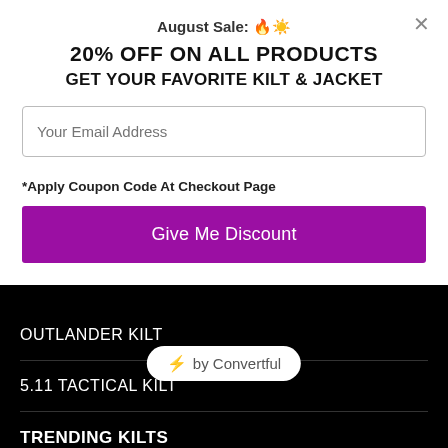August Sale: 🔥☀️
20% OFF ON ALL PRODUCTS
GET YOUR FAVORITE KILT & JACKET
Your Email Address
*Apply Coupon Code At Checkout Page
Give Me Discount
OUTLANDER KILT
5.11 TACTICAL KILT
TRENDING KILTS
MODERN KILTS
RED KILT
⚡ by Convertful